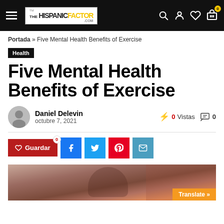The Hispanic Factor - Navigation bar
Portada » Five Mental Health Benefits of Exercise
Health
Five Mental Health Benefits of Exercise
Daniel Delevin
octubre 7, 2021
0 Vistas
0
[Figure (screenshot): Social share buttons: Guardar (save), Facebook, Twitter, Pinterest, Email]
[Figure (photo): Woman touching her hair against brick wall background, with Translate button overlay]